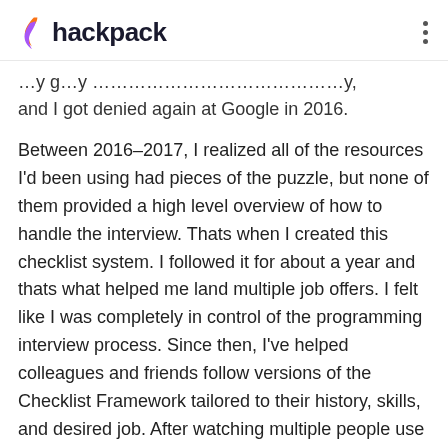hackpack
and I got denied again at Google in 2016.
Between 2016-2017, I realized all of the resources I'd been using had pieces of the puzzle, but none of them provided a high level overview of how to handle the interview. Thats when I created this checklist system. I followed it for about a year and thats what helped me land multiple job offers. I felt like I was completely in control of the programming interview process. Since then, I've helped colleagues and friends follow versions of the Checklist Framework tailored to their history, skills, and desired job. After watching multiple people use this framework and get jobs at Amazon, Facebook and Google, I figured it was worth sharing!
My checklist system in my NYC apartment up until I